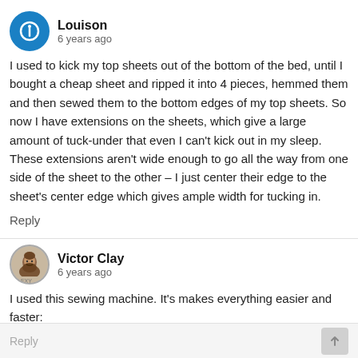Louison
6 years ago
I used to kick my top sheets out of the bottom of the bed, until I bought a cheap sheet and ripped it into 4 pieces, hemmed them and then sewed them to the bottom edges of my top sheets. So now I have extensions on the sheets, which give a large amount of tuck-under that even I can't kick out in my sleep. These extensions aren't wide enough to go all the way from one side of the sheet to the other – I just center their edge to the sheet's center edge which gives ample width for tucking in.
Reply
Victor Clay
6 years ago
I used this sewing machine. It's makes everything easier and faster:
http://bit.ly/29wRmT1
Reply